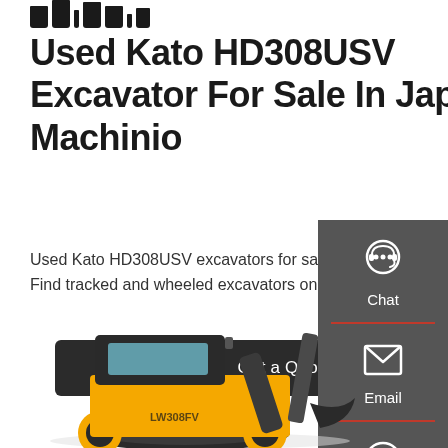[Figure (logo): Machinio logo teeth/spikes visible at top (partially cropped)]
Used Kato HD308USV Excavator For Sale In Japan | Machinio
Used Kato HD308USV excavators for sale in Japan. Find tracked and wheeled excavators on Machinio.
Get a Quote
[Figure (other): Sidebar with Chat, Email, and Contact icons on dark grey background]
[Figure (photo): Yellow and black wheeled excavator (Kato HD308USV) partially visible at bottom of page]